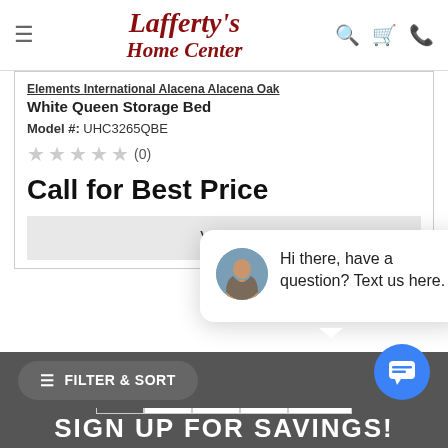[Figure (screenshot): Lafferty's Home Center website header with logo, hamburger menu, search, cart, and phone icons]
Elements International Alacena Alacena Oak White Queen Storage Bed
Model #: UHC3265QBE
★★★★★ (0)
Call for Best Price
VIEW
close
Hi there, have a question? Text us here.
1 2 3 > Last
FILTER & SORT
SIGN UP FOR SAVINGS!